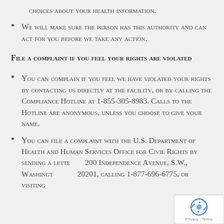choices about your health information.
We will make sure the person has this authority and can act for you before we take any action.
File a complaint if you feel your rights are violated
You can complain if you feel we have violated your rights by contacting us directly at the facility, or by calling the Compliance Hotline at 1-855-305-8983. Calls to the Hotline are anonymous, unless you choose to give your name.
You can file a complaint with the U.S. Department of Health and Human Services Office for Civil Rights by sending a letter to 200 Independence Avenue, S.W., Washington, DC 20201, calling 1-877-696-6775, or visiting